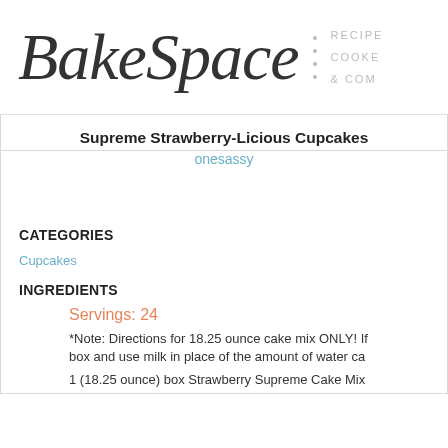BakeSpace | RECIPES COOKBOOKS & COMMUNITY
Supreme Strawberry-Licious Cupcakes
onesassy
CATEGORIES
Cupcakes
INGREDIENTS
Servings: 24
*Note: Directions for 18.25 ounce cake mix ONLY! If box and use milk in place of the amount of water ca
1 (18.25 ounce) box Strawberry Supreme Cake Mix